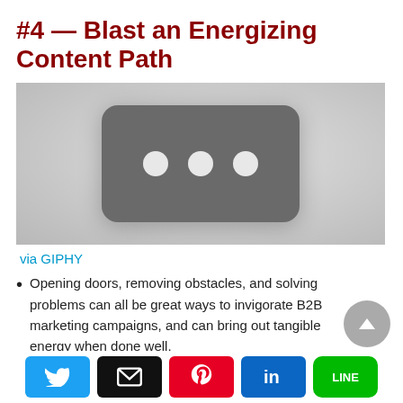#4 — Blast an Energizing Content Path
[Figure (other): Blurred grey placeholder image resembling a YouTube/video thumbnail with a dark rounded rectangle containing three white dots in the center.]
via GIPHY
Opening doors, removing obstacles, and solving problems can all be great ways to invigorate B2B marketing campaigns, and can bring out tangible energy when done well.
Social share buttons: Twitter, Email, Pinterest, LinkedIn, LINE